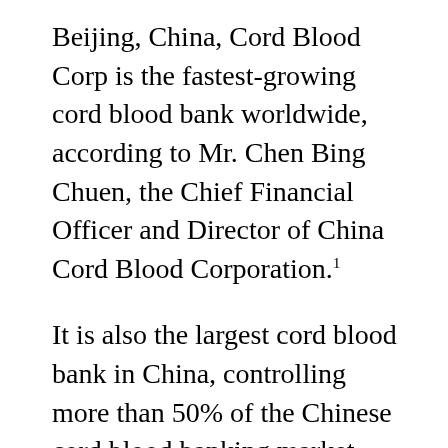Beijing, China, Cord Blood Corp is the fastest-growing cord blood bank worldwide, according to Mr. Chen Bing Chuen, the Chief Financial Officer and Director of China Cord Blood Corporation.¹
It is also the largest cord blood bank in China, controlling more than 50% of the Chinese cord blood banking market share, as determined by units stored.
Recently, the Chinese government established that it would only allow one cord blood bank in each of the Chinese provinces. The Chinese government, therefore, issues